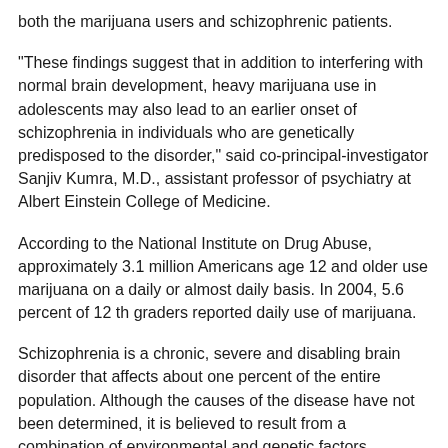both the marijuana users and schizophrenic patients.
"These findings suggest that in addition to interfering with normal brain development, heavy marijuana use in adolescents may also lead to an earlier onset of schizophrenia in individuals who are genetically predisposed to the disorder," said co-principal-investigator Sanjiv Kumra, M.D., assistant professor of psychiatry at Albert Einstein College of Medicine.
According to the National Institute on Drug Abuse, approximately 3.1 million Americans age 12 and older use marijuana on a daily or almost daily basis. In 2004, 5.6 percent of 12 th graders reported daily use of marijuana.
Schizophrenia is a chronic, severe and disabling brain disorder that affects about one percent of the entire population. Although the causes of the disease have not been determined, it is believed to result from a combination of environmental and genetic factors.
Drs. Ashtari and Kumra said longitudinal studies are needed to